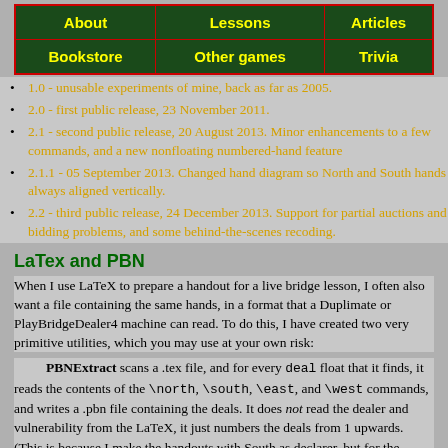| About | Lessons | Articles |
| --- | --- | --- |
| Bookstore | Other games | Trivia |
1.0 - unusable experiments of mine, back as far as 2005.
2.0 - first public release, 23 November 2011.
2.1 - second public release, 20 August 2013. Minor enhancements to a few commands, and a new nonfloating numbered-hand feature
2.1.1 - 05 September 2013. Changed hand diagram so North and South hands always aligned vertically.
2.2 - third public release, 24 December 2013. Support for partial auctions and bidding problems, and some behind-the-scenes recoding.
LaTex and PBN
When I use LaTeX to prepare a handout for a live bridge lesson, I often also want a file containing the same hands, in a format that a Duplimate or PlayBridgeDealer4 machine can read. To do this, I have created two very primitive utilities, which you may use at your own risk:
PBNExtract scans a .tex file, and for every deal float that it finds, it reads the contents of the \north, \south, \east, and \west commands, and writes a .pbn file containing the deals. It does not read the dealer and vulnerability from the LaTeX, it just numbers the deals from 1 upwards. (This is because I make the handouts with South as declarer, but for the lesson, I rotate the boards so that students in each seat get their fair share of interesting